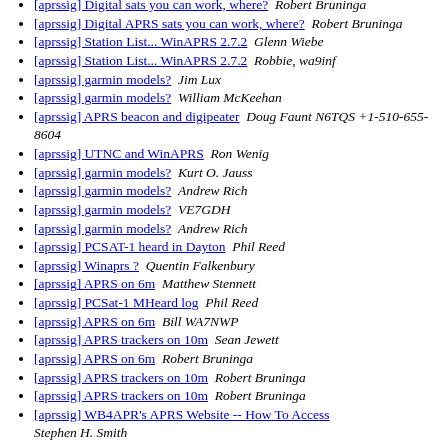[aprssig] Digital sats you can work, where?  Robert Bruninga
[aprssig] Digital APRS sats you can work, where?  Robert Bruninga
[aprssig] Station List... WinAPRS 2.7.2  Glenn Wiebe
[aprssig] Station List... WinAPRS 2.7.2  Robbie, wa9inf
[aprssig] garmin models?  Jim Lux
[aprssig] garmin models?  William McKeehan
[aprssig] APRS beacon and digipeater  Doug Faunt N6TQS +1-510-655-8604
[aprssig] UTNC and WinAPRS  Ron Wenig
[aprssig] garmin models?  Kurt O. Jauss
[aprssig] garmin models?  Andrew Rich
[aprssig] garmin models?  VE7GDH
[aprssig] garmin models?  Andrew Rich
[aprssig] PCSAT-1 heard in Dayton  Phil Reed
[aprssig] Winaprs ?  Quentin Falkenbury
[aprssig] APRS on 6m  Matthew Stennett
[aprssig] PCSat-1 MHeard log  Phil Reed
[aprssig] APRS on 6m  Bill WA7NWP
[aprssig] APRS trackers on 10m  Sean Jewett
[aprssig] APRS on 6m  Robert Bruninga
[aprssig] APRS trackers on 10m  Robert Bruninga
[aprssig] APRS trackers on 10m  Robert Bruninga
[aprssig] WB4APR's APRS Website -- How To Access  Stephen H. Smith